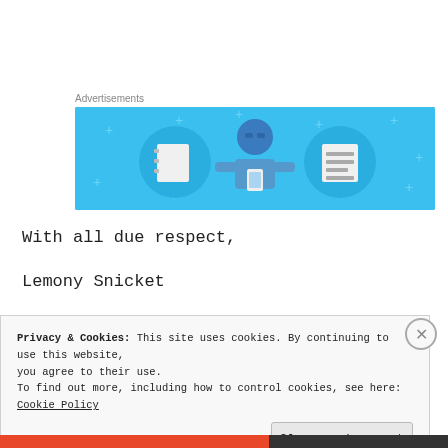Advertisements
[Figure (illustration): Advertisement banner with light blue background showing a cartoon figure holding a phone, flanked by two circular icons containing notebook and list/document images, with small plus-sign decorations scattered around.]
With all due respect,
Lemony Snicket
Privacy & Cookies: This site uses cookies. By continuing to use this website, you agree to their use.
To find out more, including how to control cookies, see here: Cookie Policy
Close and accept